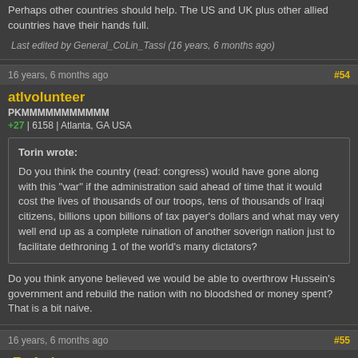Perhaps other countries should help. The US and UK plus other allied countries have their hands full.
Last edited by General_CoLin_Tassi (16 years, 6 months ago)
16 years, 6 months ago
#54
atlvolunteer
PKMMMMMMMMMMM
+27 | 6158 | Atlanta, GA USA
Torin wrote:
Do you think the country (read: congress) would have gone along with this "war" if the administration said ahead of time that it would cost the lives of thousands of our troops, tens of thousands of Iraqi citizens, billions upon billions of tax payer's dollars and what may very well end up as a complete ruination of another soverign nation just to facilitate dethroning 1 of the world's many dictators?
Do you think anyone believed we would be able to overthrow Hussein's government and rebuild the nation with no bloodshed or money spent?  That is a bit naive.
16 years, 6 months ago
#55
tF-afrojap
Member